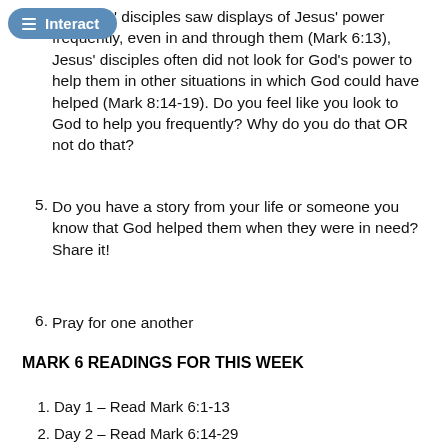…gh Jesus' disciples saw displays of Jesus' power frequently, even in and through them (Mark 6:13), Jesus' disciples often did not look for God's power to help them in other situations in which God could have helped (Mark 8:14-19). Do you feel like you look to God to help you frequently? Why do you do that OR not do that?
5. Do you have a story from your life or someone you know that God helped them when they were in need? Share it!
6. Pray for one another
MARK 6 READINGS FOR THIS WEEK
1. Day 1 – Read Mark 6:1-13
2. Day 2 – Read Mark 6:14-29